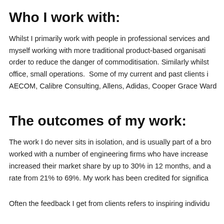Who I work with:
Whilst I primarily work with people in professional services and myself working with more traditional product-based organisations in order to reduce the danger of commoditisation. Similarly whilst office, small operations. Some of my current and past clients include AECOM, Calibre Consulting, Allens, Adidas, Cooper Grace Ward
The outcomes of my work:
The work I do never sits in isolation, and is usually part of a broader worked with a number of engineering firms who have increased increased their market share by up to 30% in 12 months, and a rate from 21% to 69%. My work has been credited for significa
Often the feedback I get from clients refers to inspiring individu